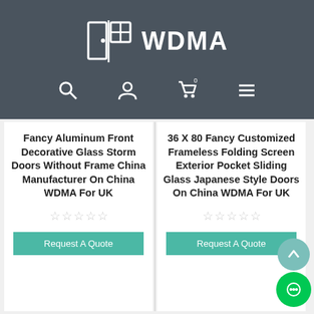WDMA
Fancy Aluminum Front Decorative Glass Storm Doors Without Frame China Manufacturer On China WDMA For UK
☆☆☆☆☆
Request A Quote
36 X 80 Fancy Customized Frameless Folding Screen Exterior Pocket Sliding Glass Japanese Style Doors On China WDMA For UK
☆☆☆☆☆
Request A Quote